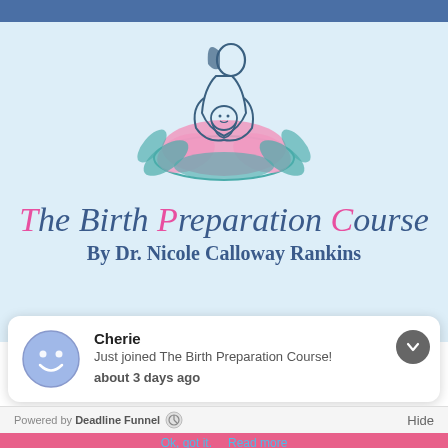[Figure (logo): Logo of The Birth Preparation Course: silhouette of a mother holding a baby, sitting above a pink and teal lotus flower, on a light blue background]
The Birth Preparation Course
By Dr. Nicole Calloway Rankins
[Figure (screenshot): Notification widget: Avatar of a smiley face in blue circle, name 'Cherie', message 'Just joined The Birth Preparation Course!', timestamp 'about 3 days ago', with a dark chevron/collapse button in top right]
Powered by Deadline Funnel  [icon]  Hide
Ok, got it.  Read more